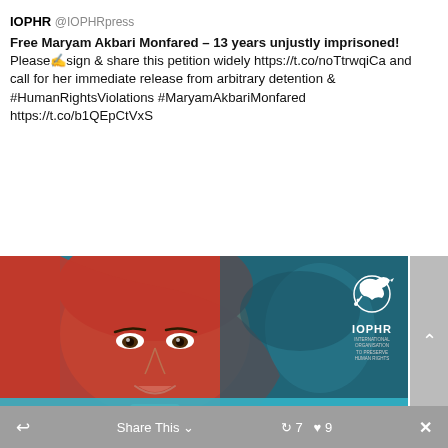IOPHR @IOPHRpress
Free Maryam Akbari Monfared – 13 years unjustly imprisoned!
Please✍sign & share this petition widely https://t.co/noTtrwqiCa and call for her immediate release from arbitrary detention & #HumanRightsViolations #MaryamAkbariMonfared https://t.co/b1QEpCtVxS
[Figure (photo): Photo of Maryam Akbari Monfared wearing a red headscarf, smiling. Background shows a ghosted/teal overlay of the same or similar image. IOPHR logo (dove with globe) in upper right corner. Bottom has a teal banner with white text '#MaryamAkbariMonfared'.]
Share This  🔁 7  ♥ 9  ✕